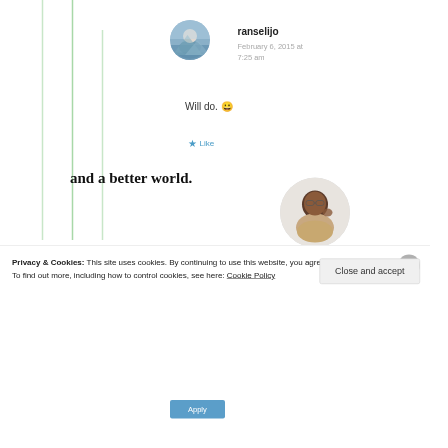ranselijo
February 6, 2015 at 7:25 am
Will do. 😀
★ Like
and a better world.
Apply
Privacy & Cookies: This site uses cookies. By continuing to use this website, you agree to their use.
To find out more, including how to control cookies, see here: Cookie Policy
Close and accept